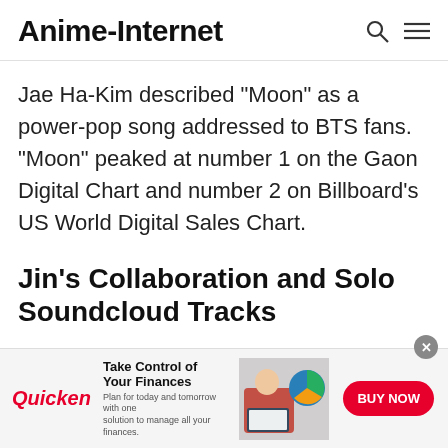Anime-Internet
Jae Ha-Kim described "Moon" as a power-pop song addressed to BTS fans. "Moon" peaked at number 1 on the Gaon Digital Chart and number 2 on Billboard's US World Digital Sales Chart.
Jin's Collaboration and Solo Soundcloud Tracks
[Figure (other): Quicken advertisement banner: Take Control of Your Finances. Plan for today and tomorrow with one solution to manage all your finances. BUY NOW button. Image of woman at laptop with pie chart graphic.]